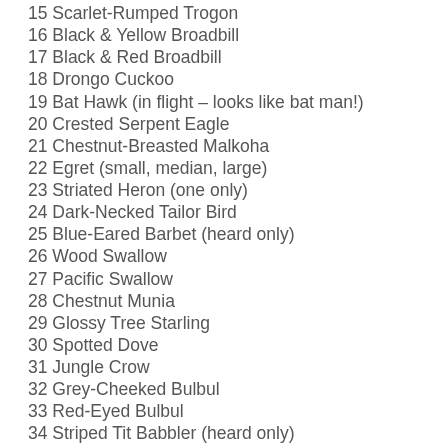15 Scarlet-Rumped Trogon
16 Black & Yellow Broadbill
17 Black & Red Broadbill
18 Drongo Cuckoo
19 Bat Hawk (in flight – looks like bat man!)
20 Crested Serpent Eagle
21 Chestnut-Breasted Malkoha
22 Egret (small, median, large)
23 Striated Heron (one only)
24 Dark-Necked Tailor Bird
25 Blue-Eared Barbet (heard only)
26 Wood Swallow
27 Pacific Swallow
28 Chestnut Munia
29 Glossy Tree Starling
30 Spotted Dove
31 Jungle Crow
32 Grey-Cheeked Bulbul
33 Red-Eyed Bulbul
34 Striped Tit Babbler (heard only)
35 Hooded Pitta
36 Banded Bay Cuckoo
37 Dollar Bird